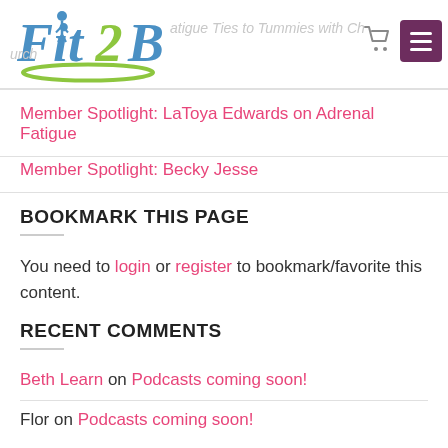Fit2B — Fatigue Ties to Tummies with Church
Member Spotlight: LaToya Edwards on Adrenal Fatigue
Member Spotlight: Becky Jesse
BOOKMARK THIS PAGE
You need to login or register to bookmark/favorite this content.
RECENT COMMENTS
Beth Learn on Podcasts coming soon!
Flor on Podcasts coming soon!